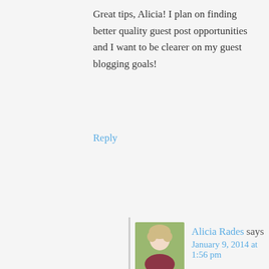Great tips, Alicia! I plan on finding better quality guest post opportunities and I want to be clearer on my guest blogging goals!
Reply
Alicia Rades says
January 9, 2014 at 1:56 pm
That’s great! Have you downloaded Sophie’s free guide for blogs that pay? That’s a great list of quality guest post opportunities.
Reply